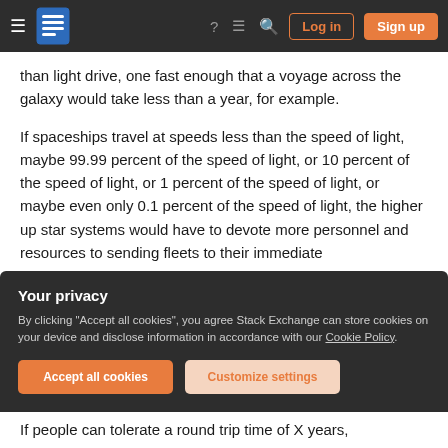Stack Exchange navigation bar with hamburger menu, logo, help, chat, search icons, Log in and Sign up buttons
than light drive, one fast enough that a voyage across the galaxy would take less than a year, for example.
If spaceships travel at speeds less than the speed of light, maybe 99.99 percent of the speed of light, or 10 percent of the speed of light, or 1 percent of the speed of light, or maybe even only 0.1 percent of the speed of light, the higher up star systems would have to devote more personnel and resources to sending fleets to their immediate
Your privacy
By clicking "Accept all cookies", you agree Stack Exchange can store cookies on your device and disclose information in accordance with our Cookie Policy.
Accept all cookies
Customize settings
If people can tolerate a round trip time of X years,